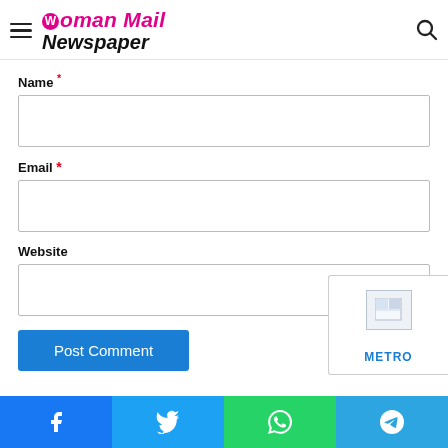Woman Mail Newspaper
Name *
Email *
Website
Post Comment
METRO